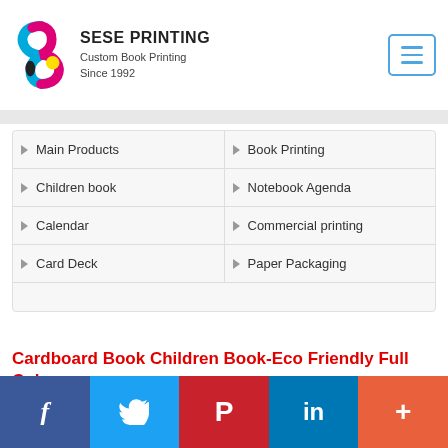[Figure (logo): SESE Printing logo with colorful S shape (cyan, magenta, yellow, black) and brand text]
SESE PRINTING
Custom Book Printing
Since 1992
Main Products
Book Printing
Children book
Notebook Agenda
Calendar
Commercial printing
Card Deck
Paper Packaging
Cardboard Book Children Book-Eco Friendly Full Color
[Figure (photo): Partial image placeholder for product photo]
f  t  P  in  +